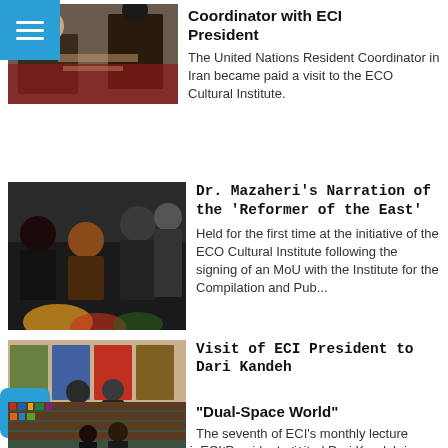[Figure (photo): Hamburger menu icon, white on blue background, top-left corner]
Coordinator with ECI President
[Figure (photo): Two people sitting on a red sofa in an office setting]
The United Nations Resident Coordinator in Iran became paid a visit to the ECO Cultural Institute.
Dr. Mazaheri's Narration of the 'Reformer of the East'
[Figure (photo): Audience members seated at a formal gathering, men in suits]
Held for the first time at the initiative of the ECO Cultural Institute following the signing of an MoU with the Institute for the Compilation and Pub...
Visit of ECI President to Dari Kandeh
[Figure (photo): People standing in front of colorful paintings on gallery wall]
[Figure (other): Back-to-top button, blue rounded square with white chevron]
Dr. Mohammad Mehdi Mazaheri, ECI President, visited Dari Kandeh in Mazandaran province, the birthplace of Mokarrarmeh Qanbari, a self-taught painter i...
"Dual-Space World"
[Figure (photo): People in front of bookshelves in a library setting]
The seventh of ECI's monthly lecture sessions was held on